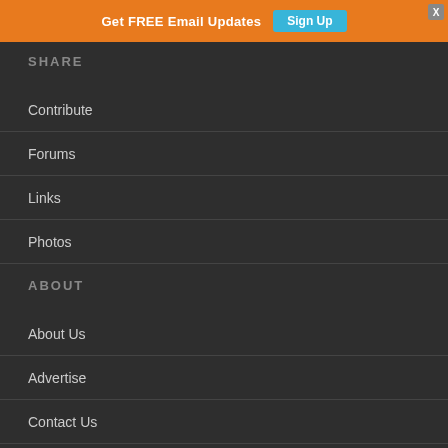Get FREE Email Updates  Sign Up  X
SHARE
Contribute
Forums
Links
Photos
ABOUT
About Us
Advertise
Contact Us
Contributors